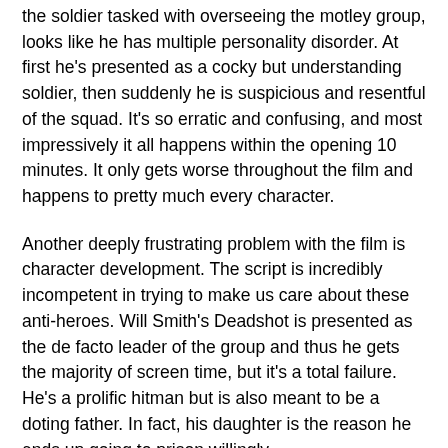the soldier tasked with overseeing the motley group, looks like he has multiple personality disorder. At first he's presented as a cocky but understanding soldier, then suddenly he is suspicious and resentful of the squad. It's so erratic and confusing, and most impressively it all happens within the opening 10 minutes. It only gets worse throughout the film and happens to pretty much every character.
Another deeply frustrating problem with the film is character development. The script is incredibly incompetent in trying to make us care about these anti-heroes. Will Smith's Deadshot is presented as the de facto leader of the group and thus he gets the majority of screen time, but it's a total failure. He's a prolific hitman but is also meant to be a doting father. In fact, his daughter is the reason he ends up going to prison willingly.